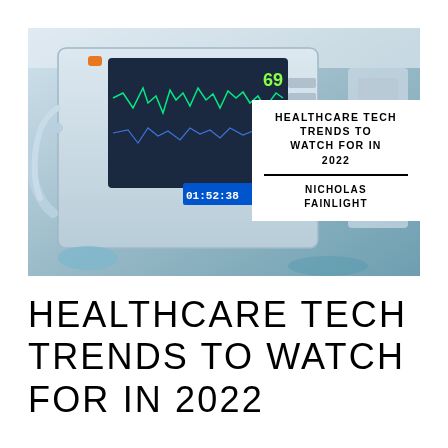[Figure (photo): Photo of a medical patient monitor/vital signs machine with a digital display showing waveforms and the time 01:52:38, with blue cables and medical equipment in the background. Overlaid white text box with title and author.]
HEALTHCARE TECH TRENDS TO WATCH FOR IN 2022
NICHOLAS FAINLIGHT
HEALTHCARE TECH TRENDS TO WATCH FOR IN 2022